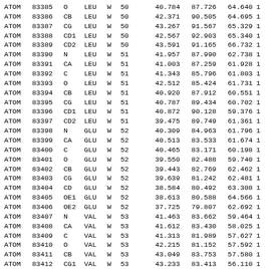| ATOM | serial | name | resName | chainID | resSeq |  | x | y | z |  |
| --- | --- | --- | --- | --- | --- | --- | --- | --- | --- | --- |
| ATOM | 83385 | O | LEU | W | 50 |  | 40.784 | 87.726 | 64.640 | 1 |
| ATOM | 83386 | CB | LEU | W | 50 |  | 42.371 | 90.505 | 64.695 | 1 |
| ATOM | 83387 | CG | LEU | W | 50 |  | 43.267 | 91.567 | 65.329 | 1 |
| ATOM | 83388 | CD1 | LEU | W | 50 |  | 42.567 | 92.903 | 65.340 | 1 |
| ATOM | 83389 | CD2 | LEU | W | 50 |  | 43.591 | 91.165 | 66.732 | 1 |
| ATOM | 83390 | N | LEU | W | 51 |  | 41.957 | 87.990 | 62.738 | 1 |
| ATOM | 83391 | CA | LEU | W | 51 |  | 41.003 | 87.259 | 61.928 | 1 |
| ATOM | 83392 | C | LEU | W | 51 |  | 41.343 | 85.796 | 61.803 | 1 |
| ATOM | 83393 | O | LEU | W | 51 |  | 42.512 | 85.424 | 61.731 | 1 |
| ATOM | 83394 | CB | LEU | W | 51 |  | 40.920 | 87.912 | 60.551 | 1 |
| ATOM | 83395 | CG | LEU | W | 51 |  | 40.787 | 89.434 | 60.702 | 1 |
| ATOM | 83396 | CD1 | LEU | W | 51 |  | 40.872 | 90.128 | 59.376 | 1 |
| ATOM | 83397 | CD2 | LEU | W | 51 |  | 39.475 | 89.749 | 61.361 | 1 |
| ATOM | 83398 | N | GLU | W | 52 |  | 40.309 | 84.963 | 61.796 | 1 |
| ATOM | 83399 | CA | GLU | W | 52 |  | 40.513 | 83.533 | 61.674 | 1 |
| ATOM | 83400 | C | GLU | W | 52 |  | 40.465 | 83.171 | 60.198 | 1 |
| ATOM | 83401 | O | GLU | W | 52 |  | 39.550 | 82.488 | 59.740 | 1 |
| ATOM | 83402 | CB | GLU | W | 52 |  | 39.443 | 82.769 | 62.462 | 1 |
| ATOM | 83403 | CG | GLU | W | 52 |  | 39.639 | 81.242 | 62.481 | 1 |
| ATOM | 83404 | CD | GLU | W | 52 |  | 38.584 | 80.492 | 63.308 | 1 |
| ATOM | 83405 | OE1 | GLU | W | 52 |  | 38.613 | 80.588 | 64.566 | 1 |
| ATOM | 83406 | OE2 | GLU | W | 52 |  | 37.725 | 79.807 | 62.692 | 1 |
| ATOM | 83407 | N | VAL | W | 53 |  | 41.463 | 83.662 | 59.464 | 1 |
| ATOM | 83408 | CA | VAL | W | 53 |  | 41.612 | 83.430 | 58.025 | 1 |
| ATOM | 83409 | C | VAL | W | 53 |  | 41.313 | 81.989 | 57.627 | 1 |
| ATOM | 83410 | O | VAL | W | 53 |  | 42.215 | 81.152 | 57.592 | 1 |
| ATOM | 83411 | CB | VAL | W | 53 |  | 43.049 | 83.753 | 57.580 | 1 |
| ATOM | 83412 | CG1 | VAL | W | 53 |  | 43.233 | 83.413 | 56.110 | 1 |
| ATOM | 83413 | CG2 | VAL | W | 53 |  | 43.358 | 85.215 | 57.874 | 1 |
| ATOM | 83414 | N | GLN | W | 54 |  | 40.053 | 81.710 | 57.312 | 1 |